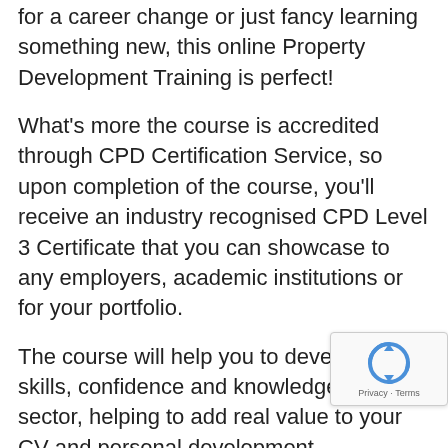for a career change or just fancy learning something new, this online Property Development Training is perfect!
What's more the course is accredited through CPD Certification Service, so upon completion of the course, you'll receive an industry recognised CPD Level 3 Certificate that you can showcase to any employers, academic institutions or for your portfolio.
The course will help you to develop your skills, confidence and knowledge of this sector, helping to add real value to your CV and personal development.
Getting started on the Property Development Training has never been so easy, just click the Buy Now button above to enrol on the course